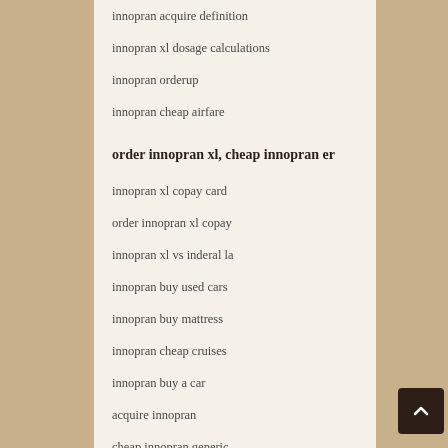innopran acquire definition
innopran xl dosage calculations
innopran orderup
innopran cheap airfare
order innopran xl, cheap innopran er
innopran xl copay card
order innopran xl copay
innopran xl vs inderal la
innopran buy used cars
innopran buy mattress
innopran cheap cruises
innopran buy a car
acquire innopran
cheap innopran generic